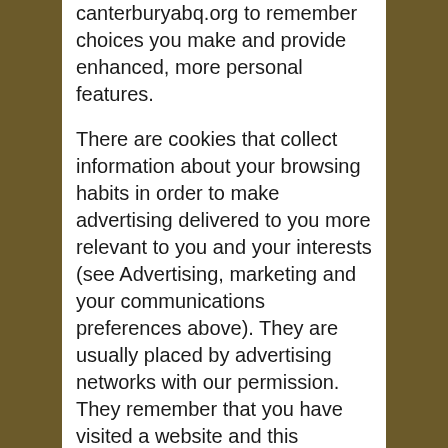canterburyabq.org to remember choices you make and provide enhanced, more personal features.

There are cookies that collect information about your browsing habits in order to make advertising delivered to you more relevant to you and your interests (see Advertising, marketing and your communications preferences above). They are usually placed by advertising networks with our permission. They remember that you have visited a website and this information is shared with other organizations such as advertisers. Quite often targeting or advertising cookies will be linked to site functionality provided by the other organization.